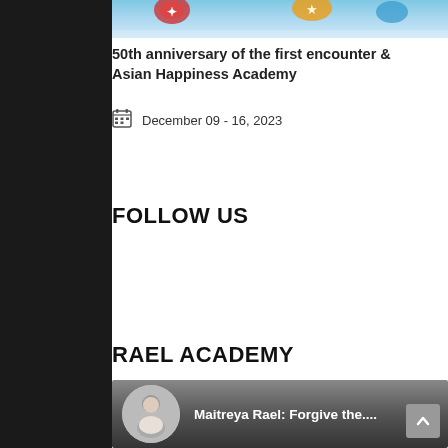[Figure (photo): Partial top image showing colorful scene with sky, likely event/celebration photo cropped at top]
50th anniversary of the first encounter & Asian Happiness Academy
December 09 - 16, 2023
FOLLOW US
RAEL ACADEMY
[Figure (screenshot): Video thumbnail showing a person with text 'Maitreya Rael: Forgive the...' on a dark gradient background]